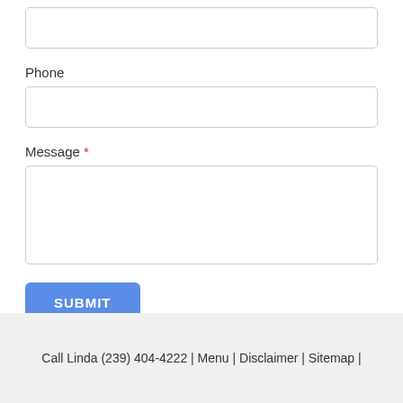[Figure (screenshot): Empty text input field at the top of a web contact form]
Phone
[Figure (screenshot): Phone text input field]
Message *
[Figure (screenshot): Message textarea input field]
SUBMIT
Call Linda (239) 404-4222 | Menu | Disclaimer | Sitemap |